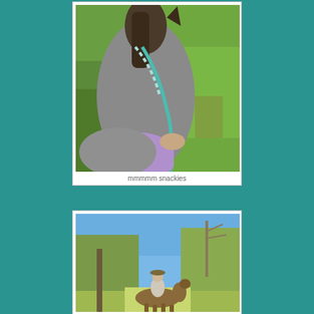[Figure (photo): Close-up photo from rider's perspective showing the back of a grey horse's neck and mane with a teal/blue lead rope, a person's hand in a purple sleeve reaching toward green dense foliage/grass]
mmmmm snackies
[Figure (photo): Photo of a person riding a horse on a trail through wooded area with bare and leafy trees, blue sky visible in background]